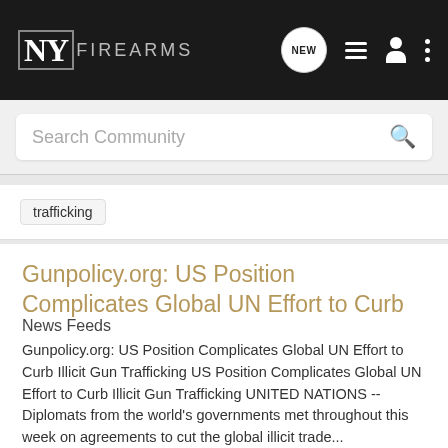NY FIREARMS
Search Community
trafficking
Gunpolicy.org: US Position Complicates Global UN Effort to Curb Illicit Gun Trafficking
News Feeds
Gunpolicy.org: US Position Complicates Global UN Effort to Curb Illicit Gun Trafficking US Position Complicates Global UN Effort to Curb Illicit Gun Trafficking UNITED NATIONS -- Diplomats from the world's governments met throughout this week on agreements to cut the global illicit trade...
0   594
nyfirearms · Jul 19, 2008